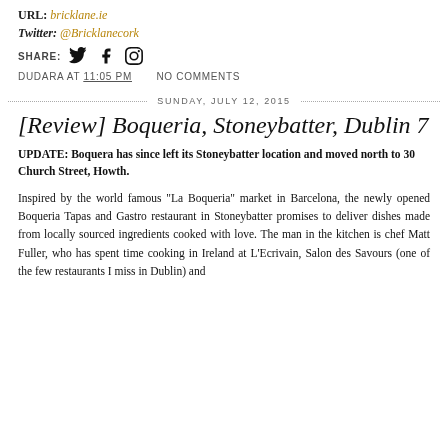URL: bricklane.ie
Twitter: @Bricklanecork
SHARE:
DUDARA AT 11:05 PM   NO COMMENTS
SUNDAY, JULY 12, 2015
[Review] Boqueria, Stoneybatter, Dublin 7
UPDATE: Boquera has since left its Stoneybatter location and moved north to 30 Church Street, Howth.
Inspired by the world famous "La Boqueria" market in Barcelona, the newly opened Boqueria Tapas and Gastro restaurant in Stoneybatter promises to deliver dishes made from locally sourced ingredients cooked with love. The man in the kitchen is chef Matt Fuller, who has spent time cooking in Ireland at L'Ecrivain, Salon des Savours (one of the few restaurants I miss in Dublin) and